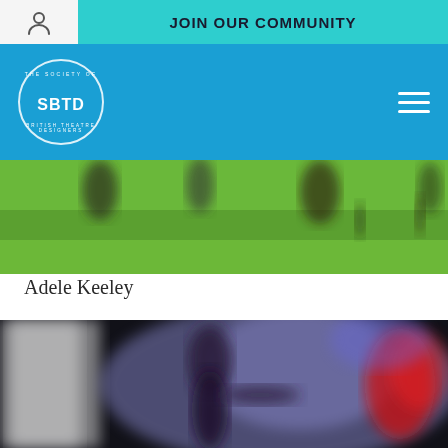JOIN OUR COMMUNITY
[Figure (logo): SBTD - The Society of British Theatre Designers circular logo in white on blue background]
Adele Keeley
[Figure (photo): Blurred outdoor photo showing green grass and dark figures/animals in the background]
[Figure (photo): Blurred theatre/performance photo showing a figure in purple/dark costume against colourful stage lighting with red figure visible]